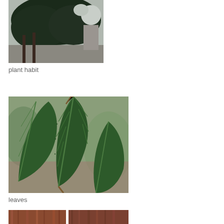[Figure (photo): Photograph of a large tree showing plant habit — dense dark green canopy with buildings and a road visible in background]
plant habit
[Figure (photo): Close-up photograph of green leaves with serrated edges and prominent veins on a branch]
leaves
[Figure (photo): Two side-by-side close-up photographs of tree bark, showing reddish-brown textured bark surface]